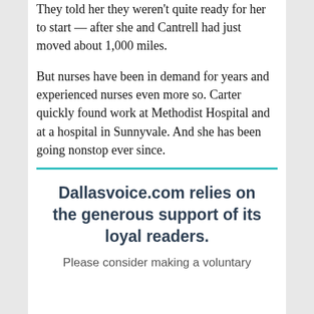They told her they weren't quite ready for her to start — after she and Cantrell had just moved about 1,000 miles.
But nurses have been in demand for years and experienced nurses even more so. Carter quickly found work at Methodist Hospital and at a hospital in Sunnyvale. And she has been going nonstop ever since.
Dallasvoice.com relies on the generous support of its loyal readers.
Please consider making a voluntary